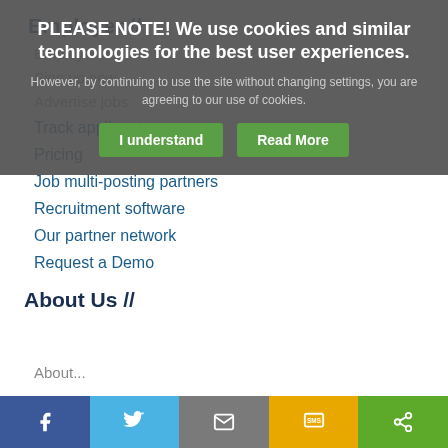Employer //
Employer //
Sign up now
Advertise jobs
Track applicants
Pricing
Job multi-posting partners
Recruitment software
Our partner network
Request a Demo
About Us //
About...
PLEASE NOTE! We use cookies and similar technologies for the best user experiences. However, by continuing to use the site without changing settings, you are agreeing to our use of cookies.